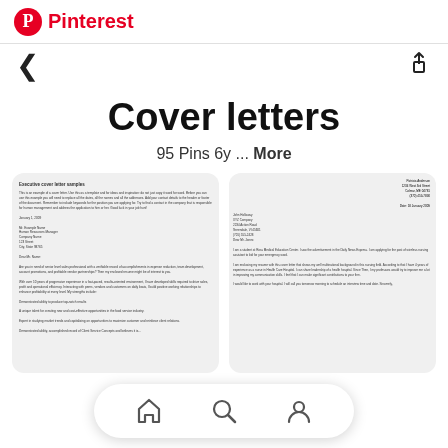Pinterest
Cover letters
95 Pins 6y ... More
[Figure (screenshot): Two thumbnail previews of cover letter document templates shown as cards]
[Figure (screenshot): Bottom navigation bar with home, search, and profile icons]